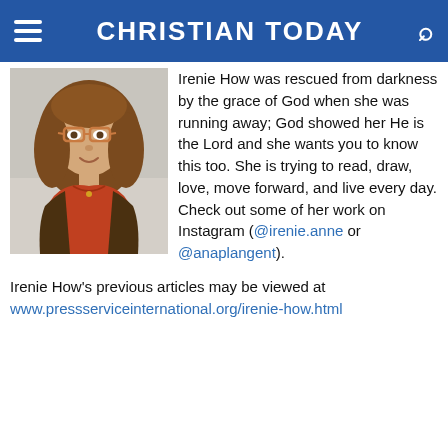CHRISTIAN TODAY
[Figure (photo): Headshot photo of Irenie How, a young woman with brown hair, glasses, and a red/orange top]
Irenie How was rescued from darkness by the grace of God when she was running away; God showed her He is the Lord and she wants you to know this too. She is trying to read, draw, love, move forward, and live every day. Check out some of her work on Instagram (@irenie.anne or @anaplangent).
Irenie How's previous articles may be viewed at www.pressserviceinternational.org/irenie-how.html